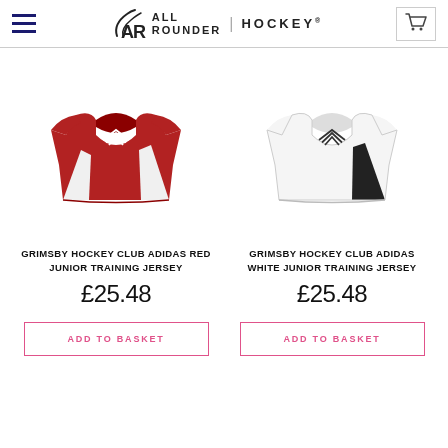ALL ROUNDER | HOCKEY
[Figure (photo): Red Adidas training jersey (Grimsby Hockey Club)]
[Figure (photo): White Adidas training jersey with black side panels (Grimsby Hockey Club)]
GRIMSBY HOCKEY CLUB ADIDAS RED JUNIOR TRAINING JERSEY
£25.48
GRIMSBY HOCKEY CLUB ADIDAS WHITE JUNIOR TRAINING JERSEY
£25.48
ADD TO BASKET
ADD TO BASKET